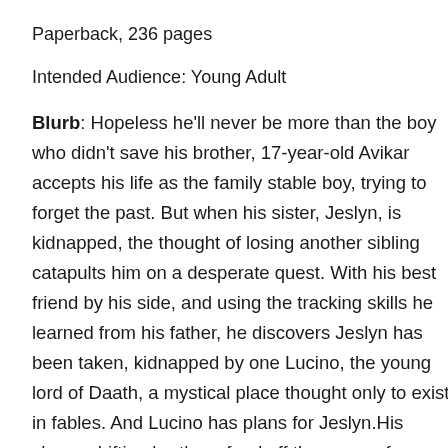Paperback, 236 pages
Intended Audience: Young Adult
Blurb: Hopeless he'll never be more than the boy who didn't save his brother, 17-year-old Avikar accepts his life as the family stable boy, trying to forget the past. But when his sister, Jeslyn, is kidnapped, the thought of losing another sibling catapults him on a desperate quest. With his best friend by his side, and using the tracking skills he learned from his father, he discovers Jeslyn has been taken, kidnapped by one Lucino, the young lord of Daath, a mystical place thought only to exist in fables. And Lucino has plans for Jeslyn.His shape-shifting brethren feed off the auras of humans, and Jeslyn's golden hue is exactly what Lucino needs to increase his power. The longer it takes Avikar to reach her, the more entranced she